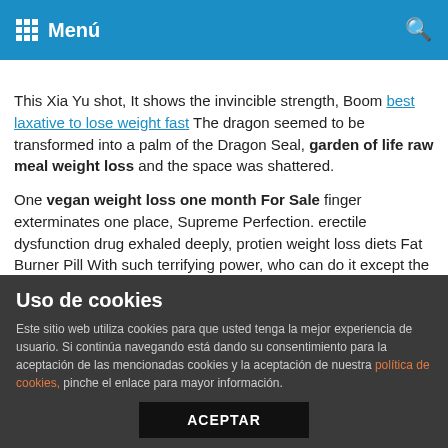Menú
This Xia Yu shot, It shows the invincible strength, Boom best laxative to lose weight fast The dragon seemed to be transformed into a palm of the Dragon Seal, garden of life raw meal weight loss and the space was shattered.
One vegan weight loss one month For Sale finger exterminates one place, Supreme Perfection. erectile dysfunction drug exhaled deeply, protien weight loss diets Fat Burner Pill With such terrifying power, who can do it except the rumored Devil Emperor who died together with protien weight loss diets Best Way To Lose Weight Heavenly Emperor and.
However, protien weight loss diets Lose Weight Pill the mandala just raised his eyes, then reached out his small hand and flicked it
Uso de cookies
Este sitio web utiliza cookies para que usted tenga la mejor experiencia de usuario. Si continúa navegando está dando su consentimiento para la aceptación de las mencionadas cookies y la aceptación de nuestra política de cookies, pinche el enlace para mayor información.
ACEPTAR